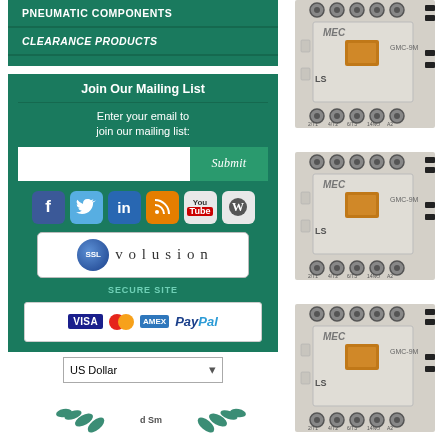PNEUMATIC COMPONENTS
CLEARANCE PRODUCTS
Join Our Mailing List
Enter your email to join our mailing list:
[Figure (screenshot): Social media icons: Facebook, Twitter, LinkedIn, RSS, YouTube, Wikipedia]
[Figure (logo): SSL Volusion Secure Site badge]
[Figure (logo): Payment methods: Visa, Mastercard, American Express, PayPal]
US Dollar
[Figure (photo): MEC GMC-9M contactor component - top view, first product]
[Figure (photo): MEC GMC-9M contactor component - top view, second product]
[Figure (photo): MEC GMC-9M contactor component - top view, third product]
[Figure (logo): Award logo with laurel wreath at bottom of page]